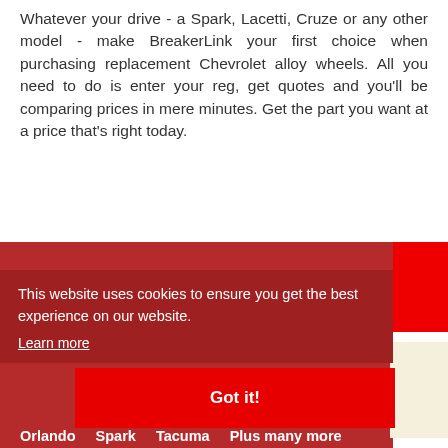Whatever your drive - a Spark, Lacetti, Cruze or any other model - make BreakerLink your first choice when purchasing replacement Chevrolet alloy wheels. All you need to do is enter your reg, get quotes and you'll be comparing prices in mere minutes. Get the part you want at a price that's right today.
This website uses cookies to ensure you get the best experience on our website. Learn more
WHOLESALE DISCOUNTS - CHEVROLET ALLOY WHEELS FOR ANY MODEL
Aveo  Captiva  Cruze  Kalos  Lacetti  Matiz
Got it!
Orlando  Spark  Tacuma  Plus many more